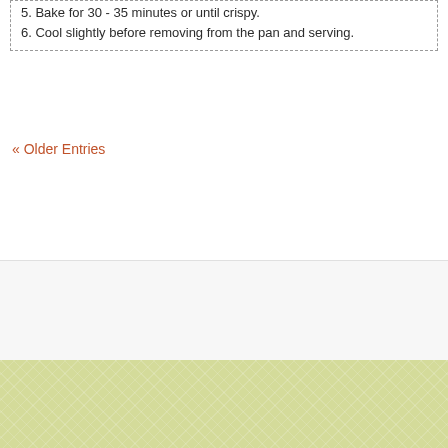5. Bake for 30 - 35 minutes or until crispy.
6. Cool slightly before removing from the pan and serving.
« Older Entries